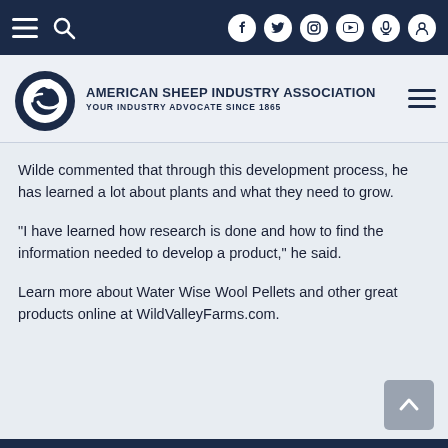American Sheep Industry Association — Your Industry Advocate Since 1865
Wilde commented that through this development process, he has learned a lot about plants and what they need to grow.
“I have learned how research is done and how to find the information needed to develop a product,” he said.
Learn more about Water Wise Wool Pellets and other great products online at WildValleyFarms.com.